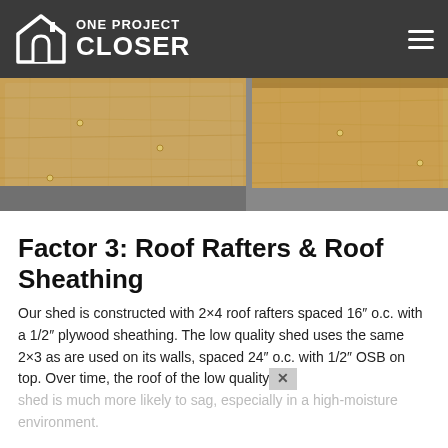ONE PROJECT CLOSER
[Figure (photo): Interior of a shed showing OSB/plywood sheathing on the walls, two panels visible with a seam in the middle, concrete floor visible at the bottom.]
Factor 3: Roof Rafters & Roof Sheathing
Our shed is constructed with 2×4 roof rafters spaced 16″ o.c. with a 1/2″ plywood sheathing. The low quality shed uses the same 2×3 as are used on its walls, spaced 24″ o.c. with 1/2″ OSB on top. Over time, the roof of the low quality shed is much more likely to sag, especially in a high-moisture environment.